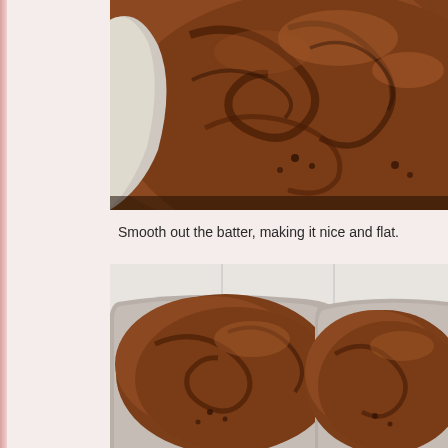[Figure (photo): Close-up overhead view of rich chocolate cake batter being mixed or spread in a large silver/white mixing bowl. The batter appears dark brown, glossy and thick with swirl patterns visible on the surface.]
Smooth out the batter, making it nice and flat.
[Figure (photo): Top-down view of two round metal cake pans filled with chocolate batter, placed on a white tiled surface. The batter has been smoothed flat in each pan ready for baking.]